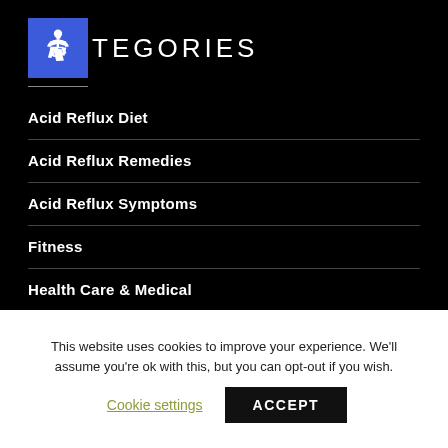CATEGORIES
Acid Reflux Diet
Acid Reflux Remedies
Acid Reflux Symptoms
Fitness
Health Care & Medical
This website uses cookies to improve your experience. We'll assume you're ok with this, but you can opt-out if you wish.
Cookie settings  ACCEPT